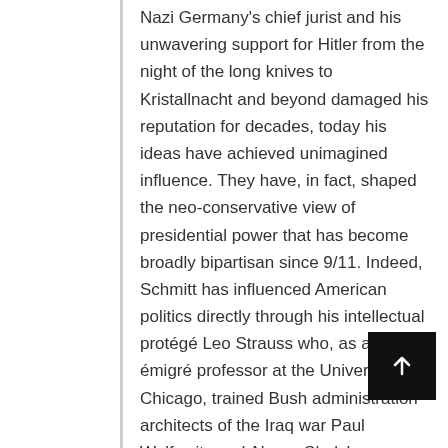Nazi Germany's chief jurist and his unwavering support for Hitler from the night of the long knives to Kristallnacht and beyond damaged his reputation for decades, today his ideas have achieved unimagined influence. They have, in fact, shaped the neo-conservative view of presidential power that has become broadly bipartisan since 9/11. Indeed, Schmitt has influenced American politics directly through his intellectual protégé Leo Strauss who, as an émigré professor at the University of Chicago, trained Bush administration architects of the Iraq war Paul Wolfowitz and Abram Shulsky.
All that should be impressive enough for a discredited, long dead authoritarian thinker. But Schmitt's dictum also became a philosophical foundation for the exercise of American global power in the quarter century that followed the end of the